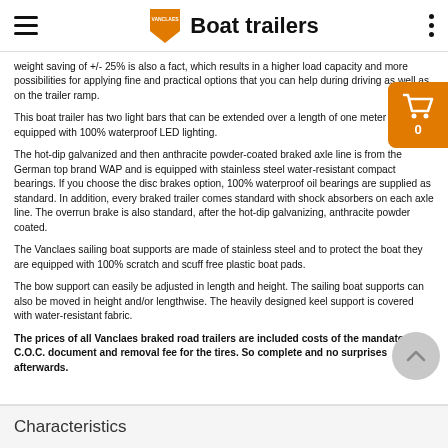Boat trailers
weight saving of +/- 25% is also a fact, which results in a higher load capacity and more possibilities for applying fine and practical options that you can help during driving as well as on the trailer ramp.
This boat trailer has two light bars that can be extended over a length of one meter and are equipped with 100% waterproof LED lighting.
The hot-dip galvanized and then anthracite powder-coated braked axle line is from the German top brand WAP and is equipped with stainless steel water-resistant compact bearings. If you choose the disc brakes option, 100% waterproof oil bearings are supplied as standard. In addition, every braked trailer comes standard with shock absorbers on each axle line. The overrun brake is also standard, after the hot-dip galvanizing, anthracite powder coated.
The Vanclaes sailing boat supports are made of stainless steel and to protect the boat they are equipped with 100% scratch and scuff free plastic boat pads.
The bow support can easily be adjusted in length and height. The sailing boat supports can also be moved in height and/or lengthwise. The heavily designed keel support is covered with water-resistant fabric.
The prices of all Vanclaes braked road trailers are included costs of the mandatory C.O.C. document and removal fee for the tires. So complete and no surprises afterwards.
Characteristics